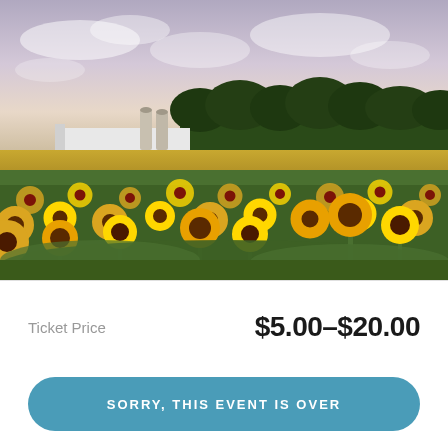[Figure (photo): A sunflower field in full bloom with yellow and dark-centered sunflowers in the foreground, green foliage, a farm with white buildings and grain silos in the middle distance, dark green trees along the horizon, and a partly cloudy sky at dusk.]
Ticket Price   $5.00–$20.00
SORRY, THIS EVENT IS OVER